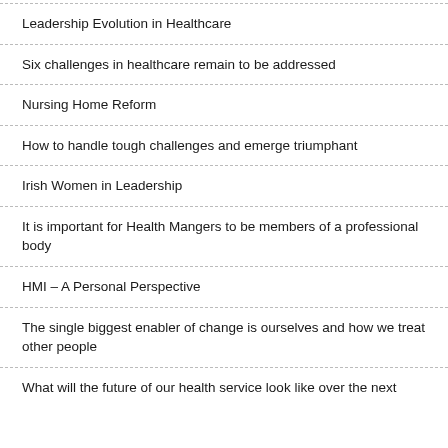Leadership Evolution in Healthcare
Six challenges in healthcare remain to be addressed
Nursing Home Reform
How to handle tough challenges and emerge triumphant
Irish Women in Leadership
It is important for Health Mangers to be members of a professional body
HMI – A Personal Perspective
The single biggest enabler of change is ourselves and how we treat other people
What will the future of our health service look like over the next